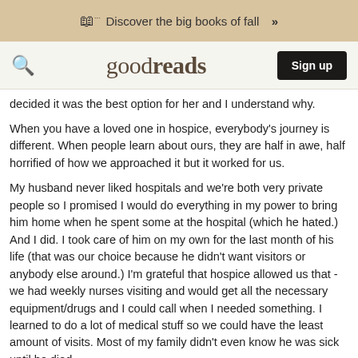Discover the big books of fall >
[Figure (logo): Goodreads logo with search icon and Sign up button]
decided it was the best option for her and I understand why.
When you have a loved one in hospice, everybody's journey is different. When people learn about ours, they are half in awe, half horrified of how we approached it but it worked for us.
My husband never liked hospitals and we're both very private people so I promised I would do everything in my power to bring him home when he spent some at the hospital (which he hated.) And I did. I took care of him on my own for the last month of his life (that was our choice because he didn't want visitors or anybody else around.) I'm grateful that hospice allowed us that - we had weekly nurses visiting and would get all the necessary equipment/drugs and I could call when I needed something. I learned to do a lot of medical stuff so we could have the least amount of visits. Most of my family didn't even know he was sick until he died.
Would I recommend this or would I go back? No, no it...